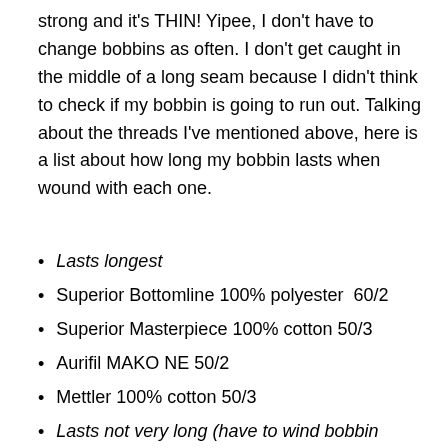strong and it's THIN! Yipee, I don't have to change bobbins as often. I don't get caught in the middle of a long seam because I didn't think to check if my bobbin is going to run out. Talking about the threads I've mentioned above, here is a list about how long my bobbin lasts when wound with each one.
Lasts longest
Superior Bottomline 100% polyester  60/2
Superior Masterpiece 100% cotton 50/3
Aurifil MAKO NE 50/2
Mettler 100% cotton 50/3
Lasts not very long (have to wind bobbin more often)